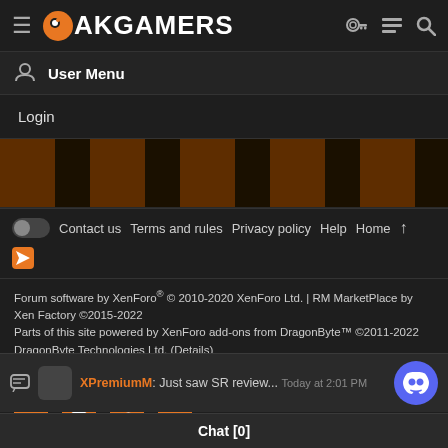PAKGAMERS
User Menu
Login
[Figure (screenshot): Dark banner background area with faint orange/dark pattern]
Contact us  Terms and rules  Privacy policy  Help  Home
Forum software by XenForo® © 2010-2020 XenForo Ltd. | RM MarketPlace by Xen Factory ©2015-2022
Parts of this site powered by XenForo add-ons from DragonByte™ ©2011-2022 DragonByte Technologies Ltd. (Details)
| Style and add-ons by ThemeHouse
XenMedio 2 PRO © Jason Axelrod of 8WAYRUN
[Figure (infographic): Social media icons: Facebook, Instagram, Twitter, YouTube in orange]
XPremiumM: Just saw SR review... Today at 2:01 PM
Chat [0]